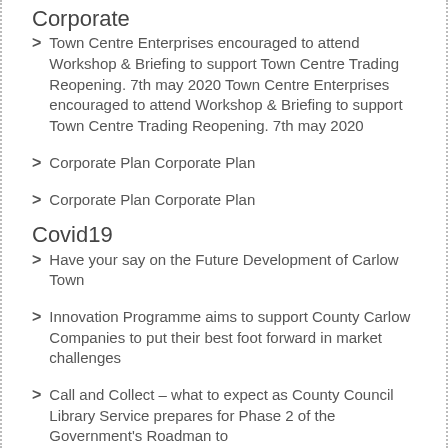Corporate
Town Centre Enterprises encouraged to attend Workshop & Briefing to support Town Centre Trading Reopening. 7th may 2020 Town Centre Enterprises encouraged to attend Workshop & Briefing to support Town Centre Trading Reopening. 7th may 2020
Corporate Plan Corporate Plan
Corporate Plan Corporate Plan
Covid19
Have your say on the Future Development of Carlow Town
Innovation Programme aims to support County Carlow Companies to put their best foot forward in market challenges
Call and Collect – what to expect as County Council Library Service prepares for Phase 2 of the Government's Roadman to